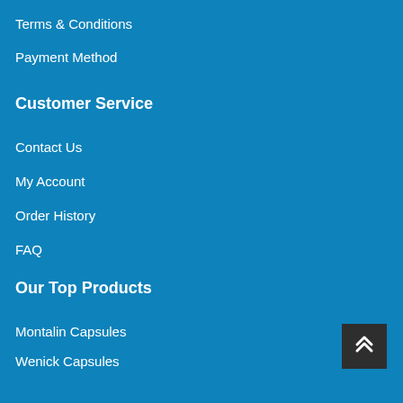Terms & Conditions
Payment Method
Customer Service
Contact Us
My Account
Order History
FAQ
Our Top Products
Montalin Capsules
Wenick Capsules
Bustmaxx Pills
Golden Royal Honey
[Figure (illustration): Back to top button — dark square with double chevron up arrow in white]